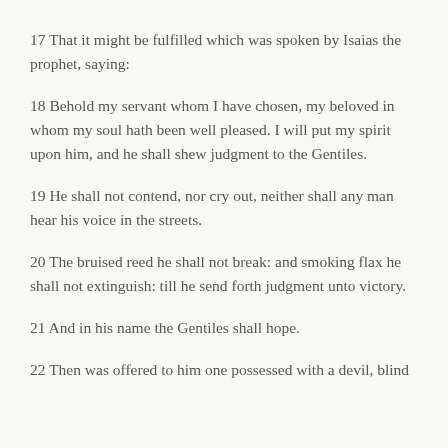17 That it might be fulfilled which was spoken by Isaias the prophet, saying:
18 Behold my servant whom I have chosen, my beloved in whom my soul hath been well pleased. I will put my spirit upon him, and he shall shew judgment to the Gentiles.
19 He shall not contend, nor cry out, neither shall any man hear his voice in the streets.
20 The bruised reed he shall not break: and smoking flax he shall not extinguish: till he send forth judgment unto victory.
21 And in his name the Gentiles shall hope.
22 Then was offered to him one possessed with a devil, blind